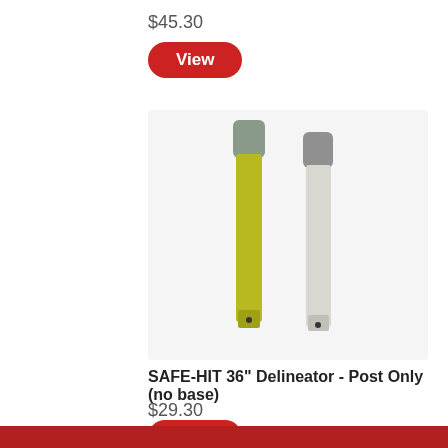$45.30
View
[Figure (photo): Two delineator posts side by side: one yellow/lime colored and one white/gray, both with gray caps at the top.]
SAFE-HIT 36" Delineator - Post Only (no base)
$29.30
View